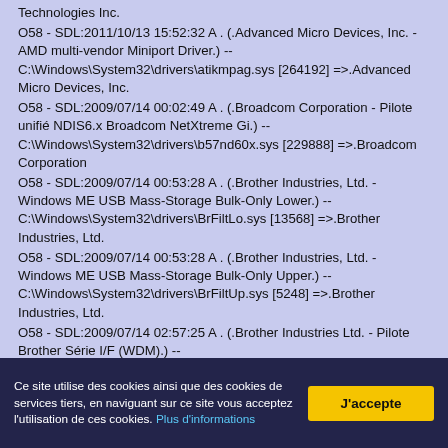Technologies Inc.
O58 - SDL:2011/10/13 15:52:32 A . (.Advanced Micro Devices, Inc. - AMD multi-vendor Miniport Driver.) -- C:\Windows\System32\drivers\atikmpag.sys [264192] =>.Advanced Micro Devices, Inc.
O58 - SDL:2009/07/14 00:02:49 A . (.Broadcom Corporation - Pilote unifié NDIS6.x Broadcom NetXtreme Gi.) -- C:\Windows\System32\drivers\b57nd60x.sys [229888] =>.Broadcom Corporation
O58 - SDL:2009/07/14 00:53:28 A . (.Brother Industries, Ltd. - Windows ME USB Mass-Storage Bulk-Only Lower.) -- C:\Windows\System32\drivers\BrFiltLo.sys [13568] =>.Brother Industries, Ltd.
O58 - SDL:2009/07/14 00:53:28 A . (.Brother Industries, Ltd. - Windows ME USB Mass-Storage Bulk-Only Upper.) -- C:\Windows\System32\drivers\BrFiltUp.sys [5248] =>.Brother Industries, Ltd.
O58 - SDL:2009/07/14 02:57:25 A . (.Brother Industries Ltd. - Pilote Brother Série I/F (WDM).) -- C:\Windows\System32\drivers\BrSerld.sys [272128] =>.Brother
Ce site utilise des cookies ainsi que des cookies de services tiers, en naviguant sur ce site vous acceptez l'utilisation de ces cookies. Plus d'informations
J'accepte